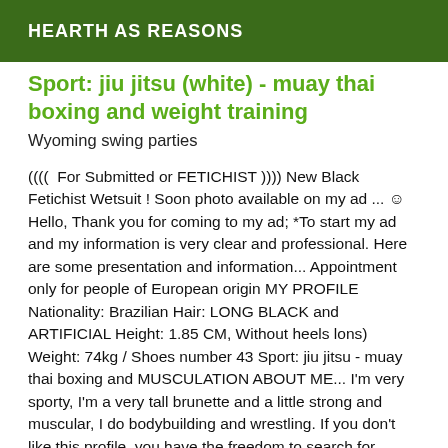HEARTH AS REASONS
Sport: jiu jitsu (white) - muay thai boxing and weight training
Wyoming swing parties
((((  For Submitted or FETICHIST )))) New Black Fetichist Wetsuit ! Soon photo available on my ad ... ☺ Hello, Thank you for coming to my ad; *To start my ad and my information is very clear and professional. Here are some presentation and information... Appointment only for people of European origin MY PROFILE Nationality: Brazilian Hair: LONG BLACK and ARTIFICIAL Height: 1.85 CM, Without heels lons) Weight: 74kg / Shoes number 43 Sport: jiu jitsu - muay thai boxing and MUSCULATION ABOUT ME... I'm very sporty, I'm a very tall brunette and a little strong and muscular, I do bodybuilding and wrestling. If you don't like this profile, you have the freedom to search for another news, there are many girls on the site for all tastes! 🍀Pour more